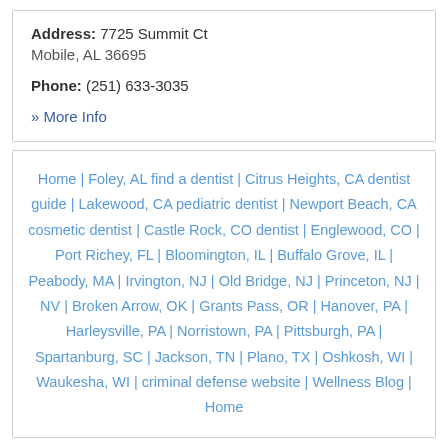Address: 7725 Summit Ct Mobile, AL 36695
Phone: (251) 633-3035
» More Info
Home | Foley, AL find a dentist | Citrus Heights, CA dentist guide | Lakewood, CA pediatric dentist | Newport Beach, CA cosmetic dentist | Castle Rock, CO dentist | Englewood, CO | Port Richey, FL | Bloomington, IL | Buffalo Grove, IL | Peabody, MA | Irvington, NJ | Old Bridge, NJ | Princeton, NJ | NV | Broken Arrow, OK | Grants Pass, OR | Hanover, PA | Harleysville, PA | Norristown, PA | Pittsburgh, PA | Spartanburg, SC | Jackson, TN | Plano, TX | Oshkosh, WI | Waukesha, WI | criminal defense website | Wellness Blog | Home
« 1 2 3 4 »